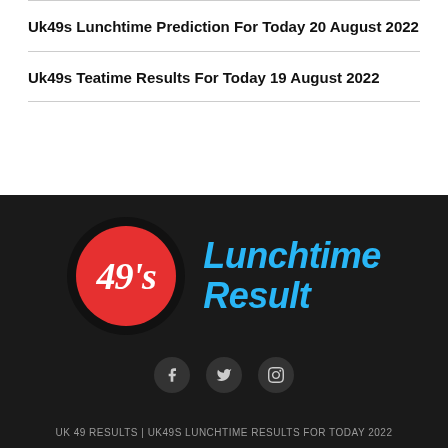Uk49s Lunchtime Prediction For Today 20 August 2022
Uk49s Teatime Results For Today 19 August 2022
[Figure (logo): UK 49s Lunchtime Result logo — red circle with '49's' text inside a black ring, with 'Lunchtime Result' in bold blue italic text, on a dark background]
UK 49 RESULTS | UK49S LUNCHTIME RESULTS FOR TODAY 2022